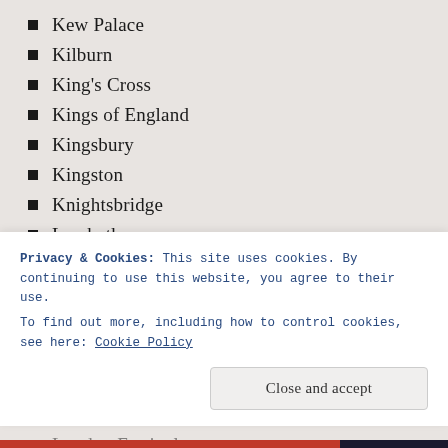Kew Palace
Kilburn
King's Cross
Kings of England
Kingsbury
Kingston
Knightsbridge
Lambeth
Leicester Square
Lewisham
Limehouse
Literary heritage
London 2012 Festival
London Bridge
London Festival (partial)
Privacy & Cookies: This site uses cookies. By continuing to use this website, you agree to their use. To find out more, including how to control cookies, see here: Cookie Policy
Close and accept